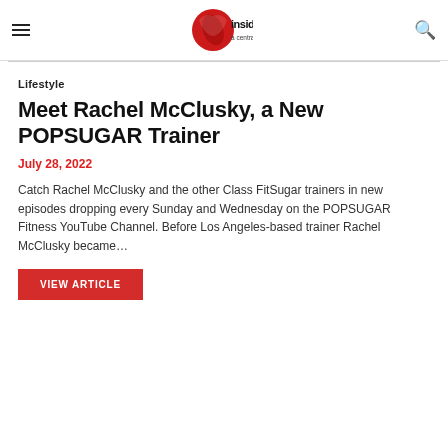insidexpress – a centralized magazine
Lifestyle
Meet Rachel McClusky, a New POPSUGAR Trainer
July 28, 2022
Catch Rachel McClusky and the other Class FitSugar trainers in new episodes dropping every Sunday and Wednesday on the POPSUGAR Fitness YouTube Channel. Before Los Angeles-based trainer Rachel McClusky became…
VIEW ARTICLE